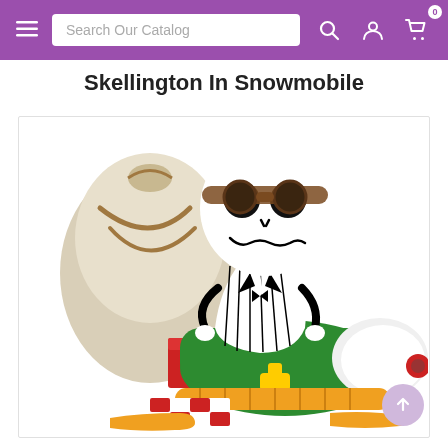Search Our Catalog
Skellington In Snowmobile
[Figure (photo): Funko Pop vinyl figure of Jack Skellington riding a green snowmobile with a large sack on the back, wearing aviator goggles, dressed in his black-and-white pinstripe suit. The snowmobile has red and white tracks, yellow skis, and a red exhaust pipe. The background is white.]